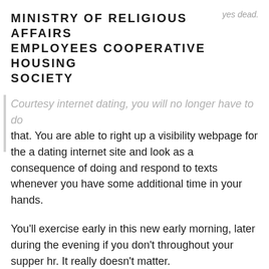MINISTRY OF RELIGIOUS AFFAIRS EMPLOYEES COOPERATIVE HOUSING SOCIETY
Courtesy internet dating, you will no longer have to do that. You are able to right up a visibility webpage for the a dating internet site and look as a consequence of doing and respond to texts whenever you have some additional time in your hands.
You'll exercise early in this new early morning, later during the evening if you don't throughout your supper hr. It really doesn't matter.
Internet dating can help a great deal https://datingreviewer.net/pl/jednolite-randki/ you and a region in the on line relationships, a lot of people say, is that you could rating a rather wise decision off if you 'd genuinely have an experience of people in advance of appointment face to face them.